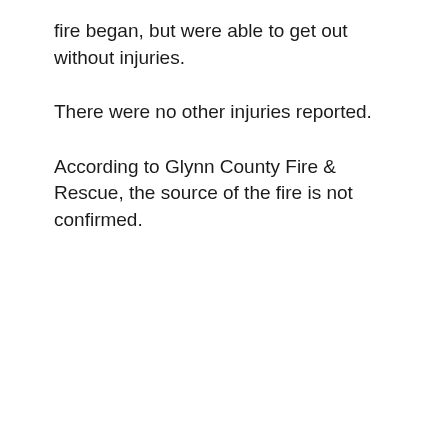fire began, but were able to get out without injuries.
There were no other injuries reported.
According to Glynn County Fire & Rescue, the source of the fire is not confirmed.